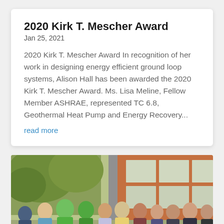2020 Kirk T. Mescher Award
Jan 25, 2021
2020 Kirk T. Mescher Award In recognition of her work in designing energy efficient ground loop systems, Alison Hall has been awarded the 2020 Kirk T. Mescher Award. Ms. Lisa Meline, Fellow Member ASHRAE, represented TC 6.8, Geothermal Heat Pump and Energy Recovery...
read more
[Figure (photo): Group photo of people in costumes and casual clothing standing outside a building with orange/brick facade and glass panel walls, trees visible in background.]